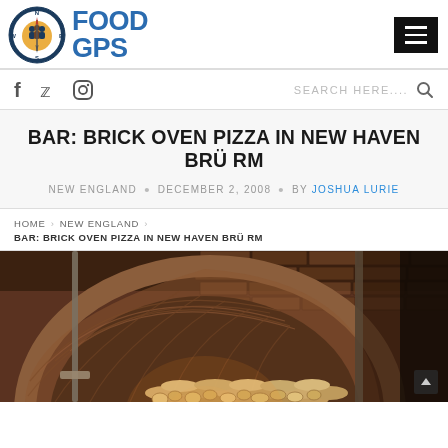Food GPS
BAR: BRICK OVEN PIZZA IN NEW HAVEN BRÜ RM
NEW ENGLAND • DECEMBER 2, 2008 • BY JOSHUA LURIE
HOME > NEW ENGLAND > BAR: BRICK OVEN PIZZA IN NEW HAVEN BRÜ RM
[Figure (photo): Interior photo of a brick oven with firewood stacked inside, showing the curved brick dome and rustic brick walls]